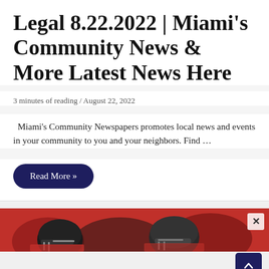Legal 8.22.2022 | Miami's Community News & More Latest News Here
3 minutes of reading / August 22, 2022
Miami's Community Newspapers promotes local news and events in your community to you and your neighbors. Find …
Read More »
[Figure (photo): Cropped photo showing football players in red and black uniforms, with a close-up of helmets and gear; partially obscured advertisement overlay with an X close button in the top right corner.]